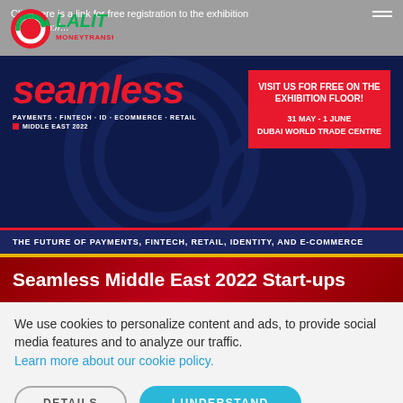[Figure (logo): Lalit Money Transfer logo — red circular arrow icon with green 'LALIT' text and red 'MONEY TRANSFER' text]
Click here is a link for free registration to the exhibition floor: http://...
[Figure (infographic): Seamless Middle East 2022 banner — navy blue background with red 'seamless' wordmark, subtitles 'PAYMENTS · FINTECH · ID · ECOMMERCE · RETAIL', 'MIDDLE EAST 2022', red box with 'VISIT US FOR FREE ON THE EXHIBITION FLOOR! 31 MAY - 1 JUNE DUBAI WORLD TRADE CENTRE', and banner tagline 'THE FUTURE OF PAYMENTS, FINTECH, RETAIL, IDENTITY, AND E-COMMERCE']
Seamless Middle East 2022 Start-ups
We use cookies to personalize content and ads, to provide social media features and to analyze our traffic. Learn more about our cookie policy.
DETAILS
I UNDERSTAND